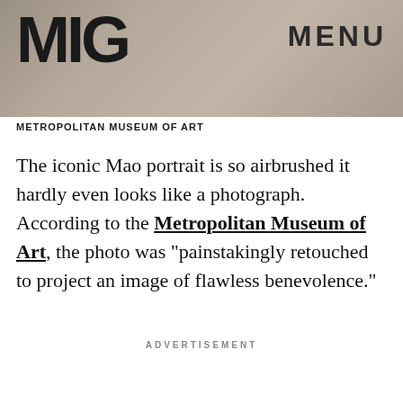[Figure (screenshot): Header banner with 'MIC' logo on the left and 'MENU' text on the right, over a gray textured background photo]
METROPOLITAN MUSEUM OF ART
The iconic Mao portrait is so airbrushed it hardly even looks like a photograph. According to the Metropolitan Museum of Art, the photo was "painstakingly retouched to project an image of flawless benevolence."
ADVERTISEMENT